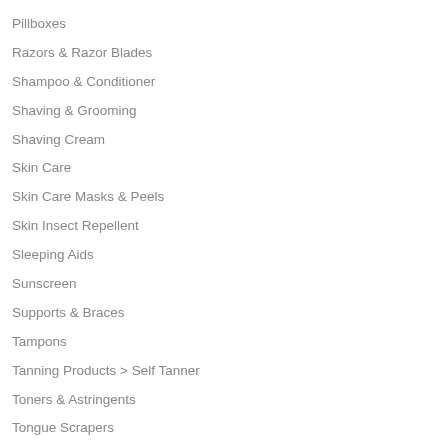Pillboxes
Razors & Razor Blades
Shampoo & Conditioner
Shaving & Grooming
Shaving Cream
Skin Care
Skin Care Masks & Peels
Skin Insect Repellent
Sleeping Aids
Sunscreen
Supports & Braces
Tampons
Tanning Products > Self Tanner
Toners & Astringents
Tongue Scrapers